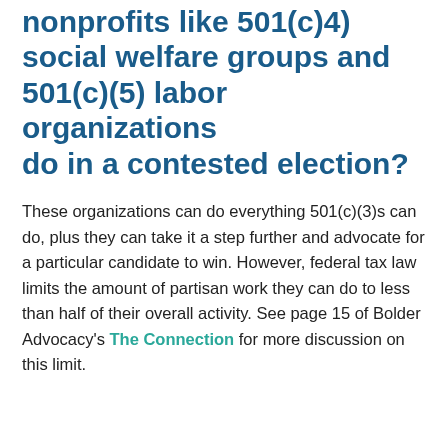nonprofits like 501(c)4) social welfare groups and 501(c)(5) labor organizations do in a contested election?
These organizations can do everything 501(c)(3)s can do, plus they can take it a step further and advocate for a particular candidate to win. However, federal tax law limits the amount of partisan work they can do to less than half of their overall activity. See page 15 of Bolder Advocacy's The Connection for more discussion on this limit.